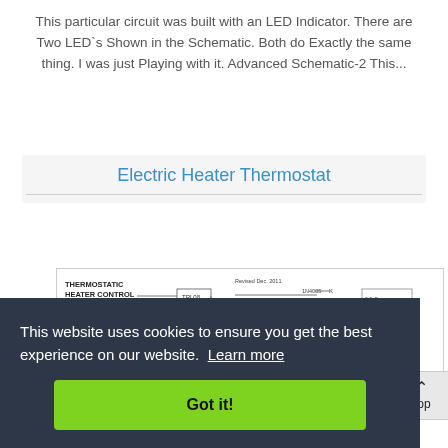This particular circuit was built with an LED Indicator. There are Two LED`s Shown in the Schematic. Both do Exactly the same thing. I was just Playing with it. Advanced Schematic-2 This...
Electric Heater Thermostat
[Figure (schematic): Partial view of a thermostatic heater control schematic diagram. Shows 'THERMOSTATIC HEATER CONTROL' label, component labels including TRL08, 1N4005, revised date Dec. 2011, and partial circuit with components including capacitor (2.2uF, 250V), diode (1N4006), with GROUND label visible at bottom right.]
This website uses cookies to ensure you get the best experience on our website. Learn more
Got it!